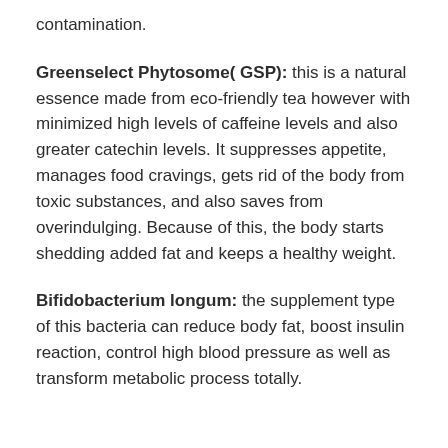contamination.
Greenselect Phytosome( GSP): this is a natural essence made from eco-friendly tea however with minimized high levels of caffeine levels and also greater catechin levels. It suppresses appetite, manages food cravings, gets rid of the body from toxic substances, and also saves from overindulging. Because of this, the body starts shedding added fat and keeps a healthy weight.
Bifidobacterium longum: the supplement type of this bacteria can reduce body fat, boost insulin reaction, control high blood pressure as well as transform metabolic process totally.